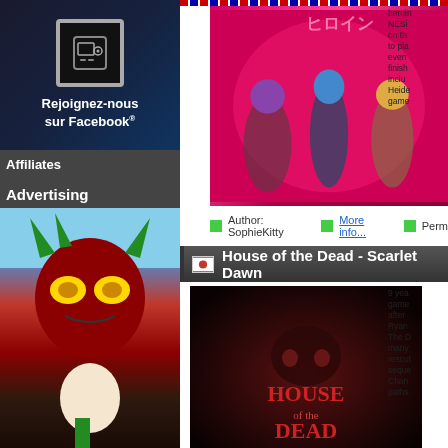[Figure (photo): Facebook banner: Rejoignez-nous sur Facebook with floppy disk icon on dark blue background]
Affiliates
Advertising
[Figure (illustration): Zelda Majora's Mask character artwork on dark background]
[Figure (illustration): Anime game heroines on pink/magenta background]
heroines NES... on the to pla even finish includ Heide game
Author: SophieKitty   More info...   Perm
House of the Dead - Scarlet Dawn
[Figure (photo): House of the Dead Scarlet Dawn logo on dark red background]
9 yea game after Ryan The D many rescut seque Chan paths
has two game modes: Normal and Master. In no game. The Master mode is more difficult but u